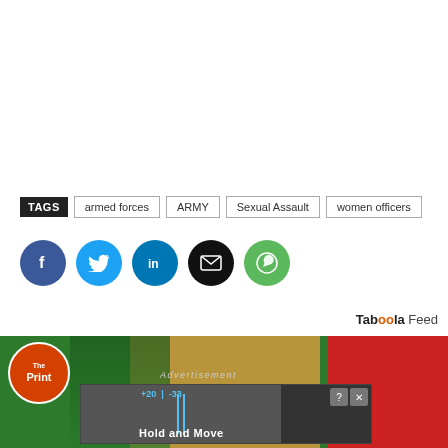TAGS  armed forces  ARMY  Sexual Assault  women officers
[Figure (screenshot): Social sharing buttons: Facebook (blue circle), Twitter (cyan circle), LinkedIn (dark blue circle), Email (black circle), WhatsApp (green circle)]
Taboola Feed
[Figure (screenshot): Bottom section showing The Print logo badge on green background, gold center panel, red right panel, with an advertisement overlay showing 'Hold and Move' game ad with close and question mark buttons]